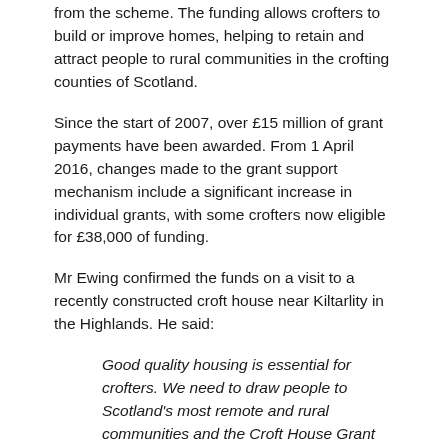from the scheme. The funding allows crofters to build or improve homes, helping to retain and attract people to rural communities in the crofting counties of Scotland.
Since the start of 2007, over £15 million of grant payments have been awarded. From 1 April 2016, changes made to the grant support mechanism include a significant increase in individual grants, with some crofters now eligible for £38,000 of funding.
Mr Ewing confirmed the funds on a visit to a recently constructed croft house near Kiltarlity in the Highlands. He said:
Good quality housing is essential for crofters. We need to draw people to Scotland's most remote and rural communities and the Croft House Grant can do that. Upgrading or building new properties can help crofters fulfil their duties as crofters and that is one of our key...